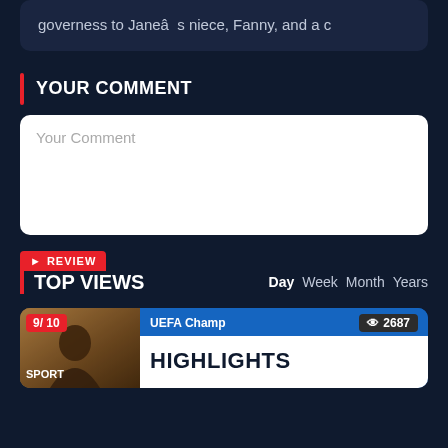governess to Janeâ s niece, Fanny, and a c
YOUR COMMENT
Your Comment
REVIEW
TOP VIEWS
Day Week Month Years
[Figure (screenshot): Sports article card showing UEFA Champions League Highlights with player photo, rating 9/10, sport label, 2687 views badge]
9/ 10
SPORT
UEFA Champ
2687
HIGHLIGHTS